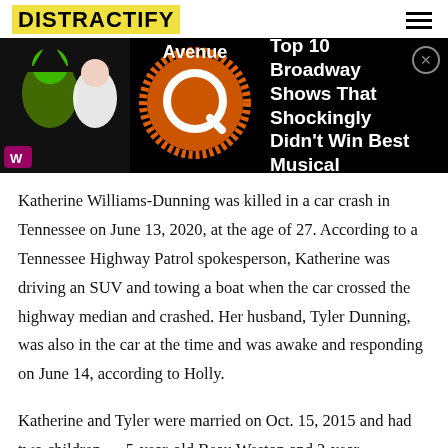DISTRACTIFY
[Figure (screenshot): Promotional ad banner for 'Top 10 Broadway Shows That Shockingly Didn't Win Best Musical' featuring Wicked and Avenue Q imagery on a dark background.]
Katherine Williams-Dunning was killed in a car crash in Tennessee on June 13, 2020, at the age of 27. According to a Tennessee Highway Patrol spokesperson, Katherine was driving an SUV and towing a boat when the car crossed the highway median and crashed. Her husband, Tyler Dunning, was also in the car at the time and was awake and responding on June 14, according to Holly.
Katherine and Tyler were married on Oct. 15, 2015 and had two children — 5-year-old Beau Weston and 2-year-